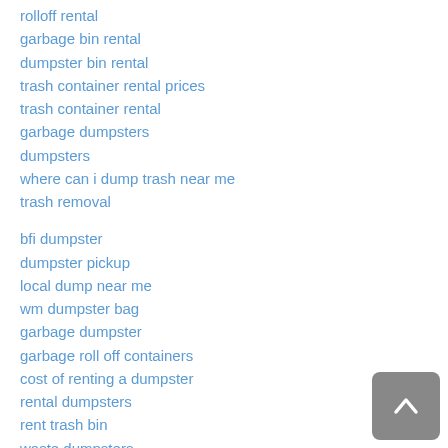rolloff rental
garbage bin rental
dumpster bin rental
trash container rental prices
trash container rental
garbage dumpsters
dumpsters
where can i dump trash near me
trash removal
bfi dumpster
dumpster pickup
local dump near me
wm dumpster bag
garbage dumpster
garbage roll off containers
cost of renting a dumpster
rental dumpsters
rent trash bin
waste dumpsters